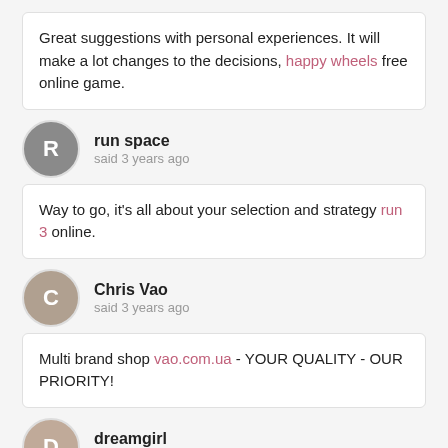Great suggestions with personal experiences. It will make a lot changes to the decisions, happy wheels free online game.
run space
said 3 years ago
Way to go, it's all about your selection and strategy run 3 online.
Chris Vao
said 3 years ago
Multi brand shop vao.com.ua - YOUR QUALITY - OUR PRIORITY!
dreamgirl
said 3 years ago
Thanks for this post!if you like game. visit here or slope